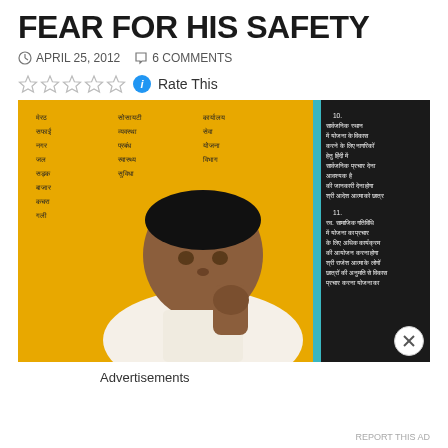FEAR FOR HIS SAFETY
APRIL 25, 2012   6 COMMENTS
Rate This
[Figure (photo): A man in a white shirt sitting thoughtfully with his hand raised to his chin, in front of a yellow board with Hindi/Devanagari script text and a dark blackboard with Hindi text on the right side.]
Advertisements